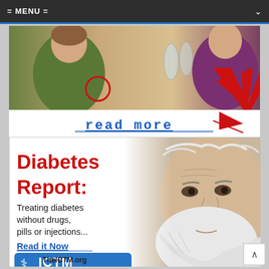= MENU =
[Figure (photo): Top banner ad showing people dining, with a red circle highlight and red arrow pointing down toward 'read more' text in blue with underline, and a red arrow graphic]
[Figure (infographic): Diabetes Report ad: Red bold text 'Diabetes Report:' with subtitle 'Treating diabetes without drugs, pills or injections...' and blue underlined 'Read it Now' link. ICTM logo (International Council for Truth in Medicine) badge in blue. TheICTM.org URL. Background shows elderly bearded man's face on right side.]